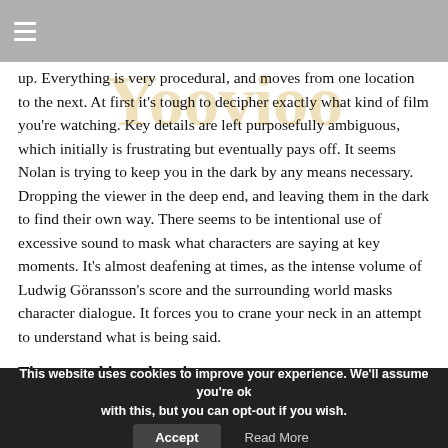up. Everything is very procedural, and moves from one location to the next. At first it's tough to decipher exactly what kind of film you're watching. Key details are left purposefully ambiguous, which initially is frustrating but eventually pays off. It seems Nolan is trying to keep you in the dark by any means necessary. Dropping the viewer in the deep end, and leaving them in the dark to find their own way. There seems to be intentional use of excessive sound to mask what characters are saying at key moments. It's almost deafening at times, as the intense volume of Ludwig Göransson's score and the surrounding world masks character dialogue. It forces you to crane your neck in an attempt to understand what is being said.
Time-travel is cool again
Tenet's high-concept is special, the way in which Nolan
This website uses cookies to improve your experience. We'll assume you're ok with this, but you can opt-out if you wish.